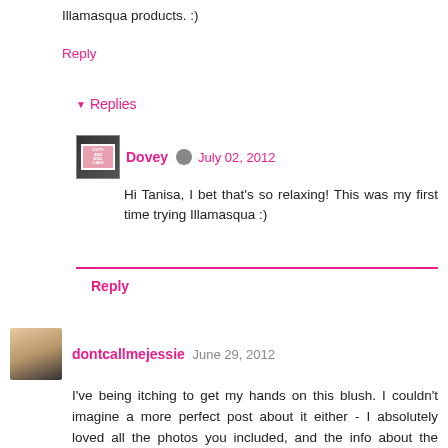Illamasqua products. :)
Reply
Replies
Dovey  July 02, 2012
Hi Tanisa, I bet that's so relaxing! This was my first time trying Illamasqua :)
Reply
dontcallmejessie  June 29, 2012
I've being itching to get my hands on this blush. I couldn't imagine a more perfect post about it either - I absolutely loved all the photos you included, and the info about the meaning of the name. I had no idea, and you're absolutely right - very "cheeky" of Illamasqua indeed! haha
Reply